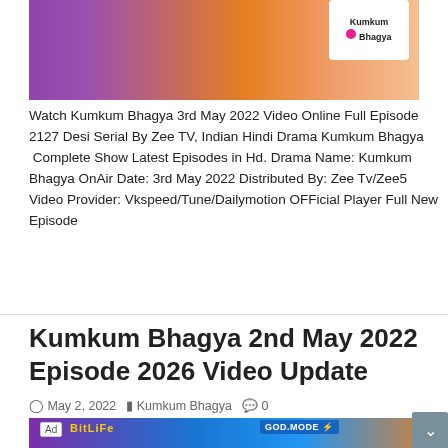[Figure (photo): Promotional image for Kumkum Bhagya TV show with actors on colorful background and show logo]
Watch Kumkum Bhagya 3rd May 2022 Video Online Full Episode 2127 Desi Serial By Zee TV, Indian Hindi Drama Kumkum Bhagya Complete Show Latest Episodes in Hd. Drama Name: Kumkum Bhagya OnAir Date: 3rd May 2022 Distributed By: Zee Tv/Zee5 Video Provider: Vkspeed/Tune/Dailymotion OFFicial Player Full New Episode
Read More »
Kumkum Bhagya 2nd May 2022 Episode 2026 Video Update
May 2, 2022   Kumkum Bhagya   0
[Figure (photo): Advertisement banner for BitLife GOD MODE game with colorful background]